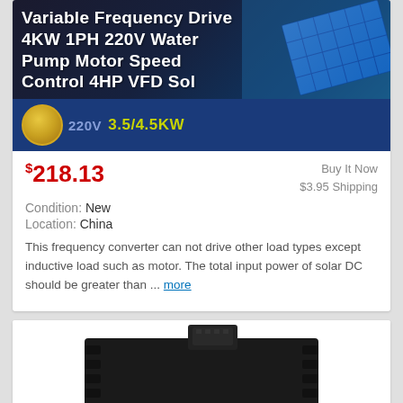[Figure (photo): Product listing image for Variable Frequency Drive 4KW 1PH 220V Water Pump Motor Speed Control 4HP VFD Sol, showing a VFD device and a solar panel on a dark blue background with a gold coin and banner overlay showing '220V 3.5/4.5KW']
$218.13
Buy It Now
$3.95 Shipping
Condition: New
Location: China
This frequency converter can not drive other load types except inductive load such as motor. The total input power of solar DC should be greater than ... more
[Figure (photo): Product image of a black industrial electrical device/motor component on white background]